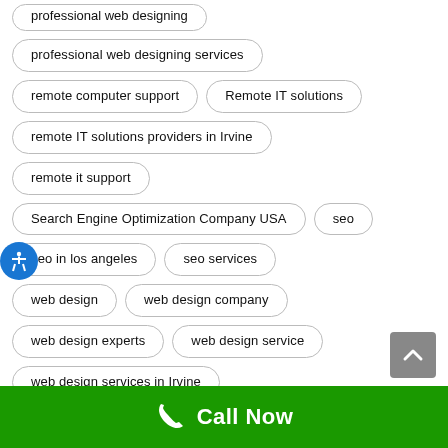professional web designing
professional web designing services
remote computer support
Remote IT solutions
remote IT solutions providers in Irvine
remote it support
Search Engine Optimization Company USA
seo
seo in los angeles
seo services
web design
web design company
web design experts
web design service
web design services in Irvine
Call Now